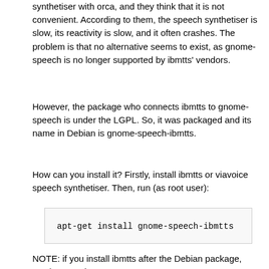synthetiser with orca, and they think that it is not convenient. According to them, the speech synthetiser is slow, its reactivity is slow, and it often crashes. The problem is that no alternative seems to exist, as gnome-speech is no longer supported by ibmtts' vendors.
However, the package who connects ibmtts to gnome-speech is under the LGPL. So, it was packaged and its name in Debian is gnome-speech-ibmtts.
How can you install it? Firstly, install ibmtts or viavoice speech synthetiser. Then, run (as root user):
apt-get install gnome-speech-ibmtts
NOTE: if you install ibmtts after the Debian package, you have to do: